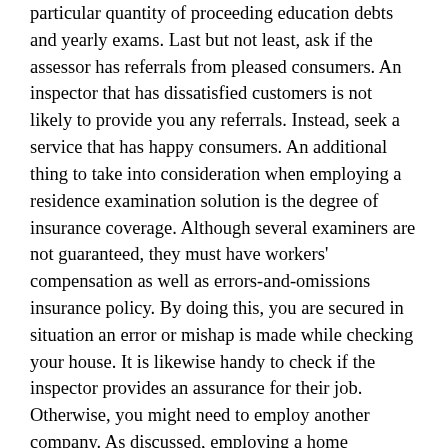particular quantity of proceeding education debts and yearly exams. Last but not least, ask if the assessor has referrals from pleased consumers. An inspector that has dissatisfied customers is not likely to provide you any referrals. Instead, seek a service that has happy consumers. An additional thing to take into consideration when employing a residence examination solution is the degree of insurance coverage. Although several examiners are not guaranteed, they must have workers' compensation as well as errors-and-omissions insurance policy. By doing this, you are secured in situation an error or mishap is made while checking your house. It is likewise handy to check if the inspector provides an assurance for their job. Otherwise, you might need to employ another company. As discussed, employing a home assessment service will certainly assist you conserve cash. If you intend to sell your house, you ought to employ a specialist house examiner to discover covert troubles. These troubles can create you to reduce the cost. The best residence inspectors are licensed specialists or other experts with certain knowledge of developing houses. These experts can offer you sincere responses and also help you discuss an excellent